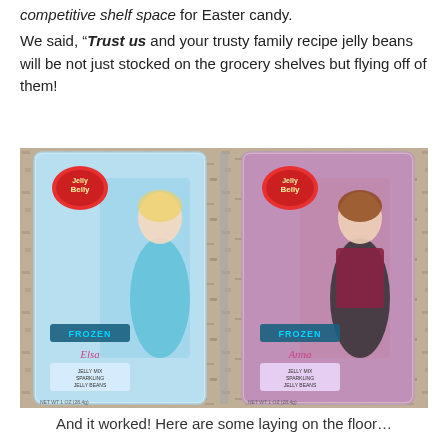competitive shelf space for Easter candy.
We said, “Trust us and your trusty family recipe jelly beans will be not just stocked on the grocery shelves but flying off of them!
[Figure (photo): Two Jelly Belly Frozen-themed jelly bean packages featuring Elsa and Anna characters, placed on a granite countertop.]
And it worked! Here are some laying on the floor…